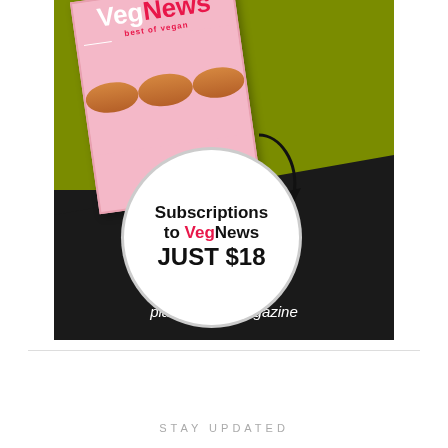[Figure (advertisement): VegNews magazine subscription advertisement showing a tilted magazine cover with donuts, olive green and black background, white circle badge saying 'Subscriptions to VegNews JUST $18', and text 'The world's #1 plant-based magazine']
STAY UPDATED